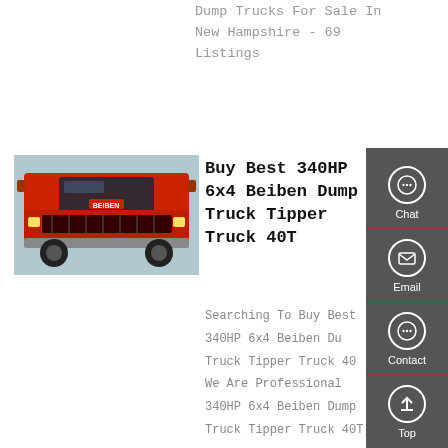Dump Trucks For Sale In New Hampshire - 69 Listings
Get a Quote
[Figure (photo): Front view of a red Beiben dump truck]
Buy Best 340HP 6x4 Beiben Dump Truck Tipper Truck 40T
Searching To Buy Best 340HP 6x4 Beiben Dump Truck Tipper Truck 40T We Are Professional 340HP 6x4 Beiben Dump Truck Tipper Truck 40T